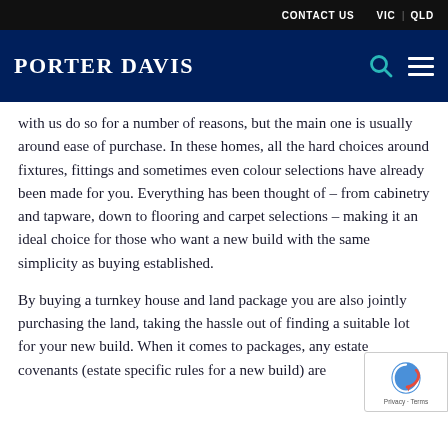CONTACT US   VIC   QLD
PORTER DAVIS
with us do so for a number of reasons, but the main one is usually around ease of purchase. In these homes, all the hard choices around fixtures, fittings and sometimes even colour selections have already been made for you. Everything has been thought of – from cabinetry and tapware, down to flooring and carpet selections – making it an ideal choice for those who want a new build with the same simplicity as buying established.
By buying a turnkey house and land package you are also jointly purchasing the land, taking the hassle out of finding a suitable lot for your new build. When it comes to packages, any estate covenants (estate specific rules for a new build) are